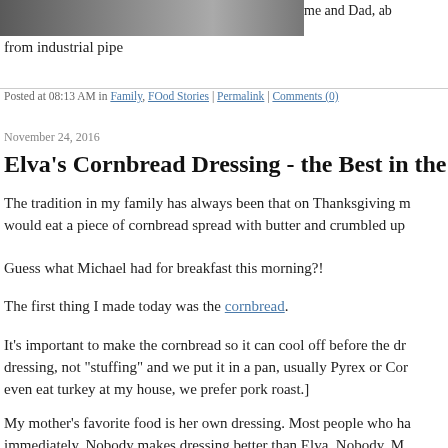[Figure (photo): Partial photo strip at top of page showing people (cropped)]
me and Dad, ab
from industrial pipe
Posted at 08:13 AM in Family, FOod Stories | Permalink | Comments (0)
November 24, 2016
Elva's Cornbread Dressing - the Best in the W
The tradition in my family has always been that on Thanksgiving m would eat a piece of cornbread spread with butter and crumbled up
Guess what Michael had for breakfast this morning?!
The first thing I made today was the cornbread.
It's important to make the cornbread so it can cool off before the dr dressing, not "stuffing" and we put it in a pan, usually Pyrex or Cor even eat turkey at my house, we prefer pork roast.]
My mother's favorite food is her own dressing. Most people who ha immediately. Nobody makes dressing better than Elva. Nobody. M Facebook that Elva's dressing was her favorite food! High complin and gourmand.
This year, we let Michael do most of the work making the dressing brother couldn't come over so it's just the three of us. We are trying